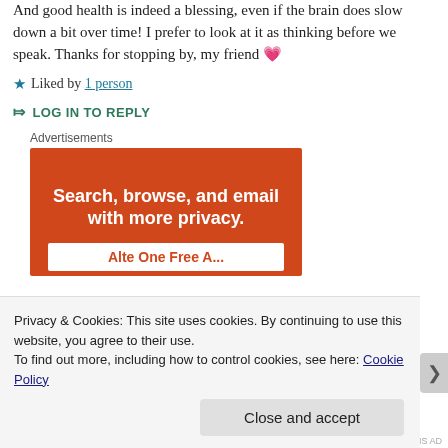And good health is indeed a blessing, even if the brain does slow down a bit over time! I prefer to look at it as thinking before we speak. Thanks for stopping by, my friend 💗
★ Liked by 1 person
➦ LOG IN TO REPLY
Advertisements
[Figure (other): Advertisement banner with orange background reading 'Search, browse, and email with more privacy.' with a white button partially visible at bottom]
Privacy & Cookies: This site uses cookies. By continuing to use this website, you agree to their use.
To find out more, including how to control cookies, see here: Cookie Policy
Close and accept